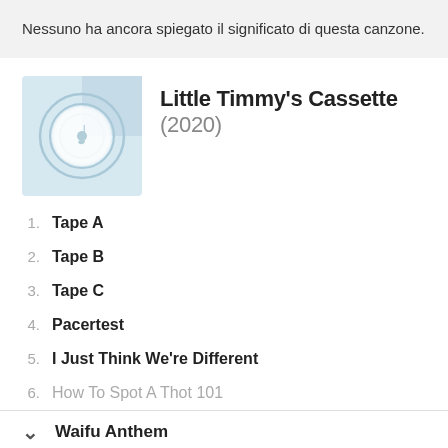Nessuno ha ancora spiegato il significato di questa canzone.
[Figure (illustration): Album cover art for Little Timmy's Cassette, light blue with circular vinyl record design and music note icon]
Little Timmy's Cassette (2020)
1. Tape A
2. Tape B
3. Tape C
4. Pacertest
5. I Just Think We're Different
6. How To Spot A Thot 101
Waifu Anthem